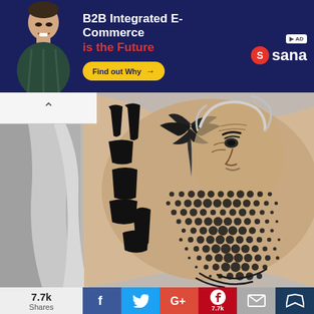[Figure (screenshot): Advertisement banner with dark navy background showing a man in a flannel shirt, text 'B2B Integrated E-Commerce is the Future' with Sana logo and 'Find out Why' button]
[Figure (photo): Close-up photograph of a forearm tattoo featuring a portrait of an older man (resembling Einstein) with halftone dot pattern shading and graphic black calligraphic elements, in black and grey style]
7.7k Shares
[Figure (screenshot): Social sharing bar with Facebook, Twitter, Google+, Pinterest (7.7k), Email, and crown/bookmark buttons]